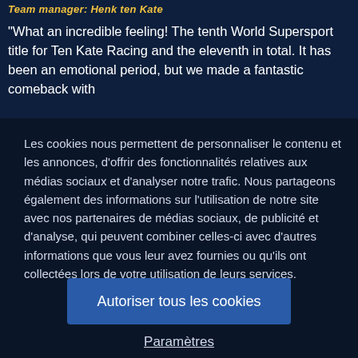"What an incredible feeling! The tenth World Supersport title for Ten Kate Racing and the eleventh in total. It has been an emotional period, but we made a fantastic comeback with
Les cookies nous permettent de personnaliser le contenu et les annonces, d'offrir des fonctionnalités relatives aux médias sociaux et d'analyser notre trafic. Nous partageons également des informations sur l'utilisation de notre site avec nos partenaires de médias sociaux, de publicité et d'analyse, qui peuvent combiner celles-ci avec d'autres informations que vous leur avez fournies ou qu'ils ont collectées lors de votre utilisation de leurs services.
Autoriser tous les cookies
Paramètres